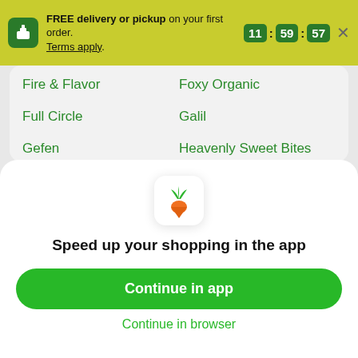FREE delivery or pickup on your first order. Terms apply. 11:59:57
Fire & Flavor
Foxy Organic
Full Circle
Galil
Gefen
Heavenly Sweet Bites
Heinen's
Livada
Love Beets
Melissa's
Othentic
Produce
Speed up your shopping in the app
Continue in app
Continue in browser